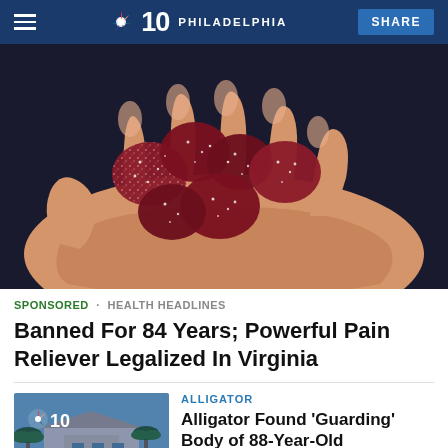NBC10 PHILADELPHIA | SHARE
[Figure (photo): Close-up photo of several red sugar-coated gummy candies resting in an open human hand against a dark background.]
SPONSORED · HEALTH HEADLINES
Banned For 84 Years; Powerful Pain Reliever Legalized In Virginia
ALLIGATOR
Alligator Found 'Guarding' Body of 88-Year-Old
[Figure (photo): Thumbnail image of a building with palm trees, overlaid with NBC10 logo.]